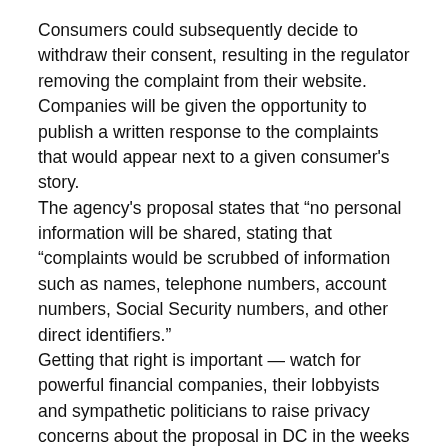Consumers could subsequently decide to withdraw their consent, resulting in the regulator removing the complaint from their website. Companies will be given the opportunity to publish a written response to the complaints that would appear next to a given consumer's story.
The agency's proposal states that “no personal information will be shared, stating that “complaints would be scrubbed of information such as names, telephone numbers, account numbers, Social Security numbers, and other direct identifiers.”
Getting that right is important — watch for powerful financial companies, their lobbyists and sympathetic politicians to raise privacy concerns about the proposal in DC in the weeks to follow.
While it may not be easy to at first glance how consumers th...